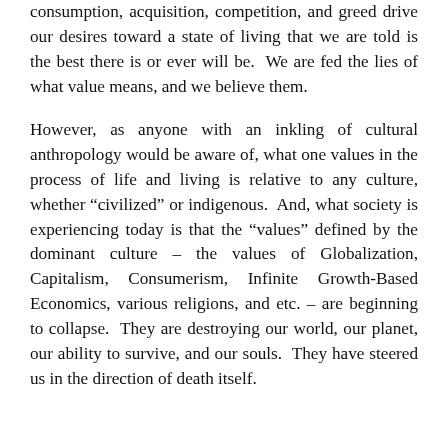consumption, acquisition, competition, and greed drive our desires toward a state of living that we are told is the best there is or ever will be. We are fed the lies of what value means, and we believe them.
However, as anyone with an inkling of cultural anthropology would be aware of, what one values in the process of life and living is relative to any culture, whether “civilized” or indigenous. And, what society is experiencing today is that the “values” defined by the dominant culture – the values of Globalization, Capitalism, Consumerism, Infinite Growth-Based Economics, various religions, and etc. – are beginning to collapse. They are destroying our world, our planet, our ability to survive, and our souls. They have steered us in the direction of death itself.